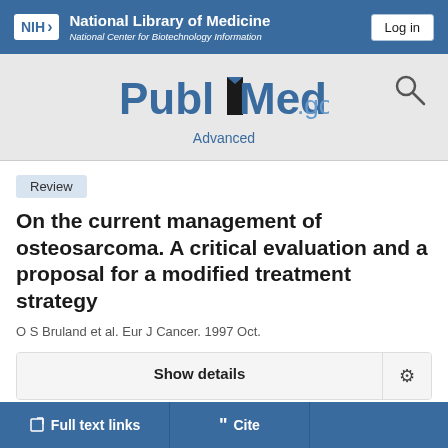NIH National Library of Medicine National Center for Biotechnology Information | Log in
[Figure (logo): PubMed.gov logo with search icon and Advanced link]
Review
On the current management of osteosarcoma. A critical evaluation and a proposal for a modified treatment strategy
O S Bruland et al. Eur J Cancer. 1997 Oct.
Show details
Full text links | Cite